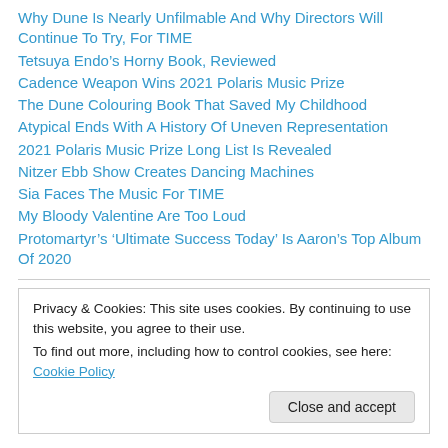Why Dune Is Nearly Unfilmable And Why Directors Will Continue To Try, For TIME
Tetsuya Endo’s Horny Book, Reviewed
Cadence Weapon Wins 2021 Polaris Music Prize
The Dune Colouring Book That Saved My Childhood
Atypical Ends With A History Of Uneven Representation
2021 Polaris Music Prize Long List Is Revealed
Nitzer Ebb Show Creates Dancing Machines
Sia Faces The Music For TIME
My Bloody Valentine Are Too Loud
Protomartyr’s ‘Ultimate Success Today’ Is Aaron’s Top Album Of 2020
Privacy & Cookies: This site uses cookies. By continuing to use this website, you agree to their use.
To find out more, including how to control cookies, see here: Cookie Policy